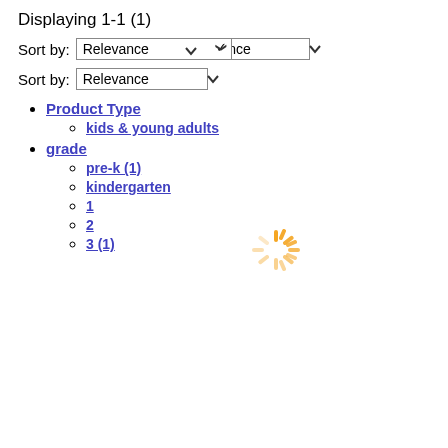Displaying 1-1 (1)
Sort by: Relevance
Sort by: Relevance
Product Type
kids & young adults
grade
pre-k (1)
kindergarten
1
2
3 (1)
[Figure (other): Orange/yellow spinning loading indicator icon]